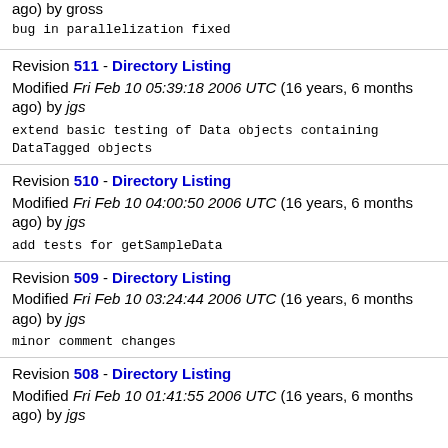ago) by gross
bug in parallelization fixed
Revision 511 - Directory Listing
Modified Fri Feb 10 05:39:18 2006 UTC (16 years, 6 months ago) by jgs
extend basic testing of Data objects containing DataTagged objects
Revision 510 - Directory Listing
Modified Fri Feb 10 04:00:50 2006 UTC (16 years, 6 months ago) by jgs
add tests for getSampleData
Revision 509 - Directory Listing
Modified Fri Feb 10 03:24:44 2006 UTC (16 years, 6 months ago) by jgs
minor comment changes
Revision 508 - Directory Listing
Modified Fri Feb 10 01:41:55 2006 UTC (16 years, 6 months ago) by jgs